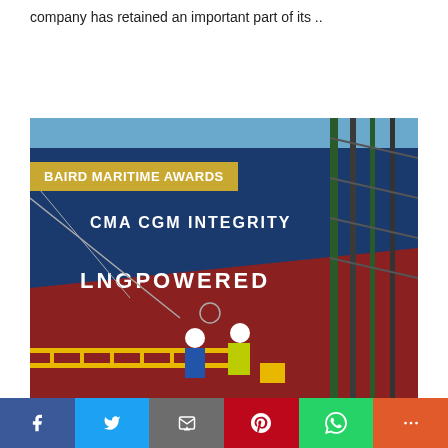company has retained an important part of its ..
Read More
[Figure (photo): Large container ship named CMA CGM INTEGRITY with LNGPOWERED written on its hull, docked at a port with two workers in hard hats and high-visibility gear standing in the foreground. A yellow banner reads BAIRD MARITIME AWARDS.]
Social sharing bar with Facebook, Twitter, Email, Pinterest, WhatsApp, and More buttons